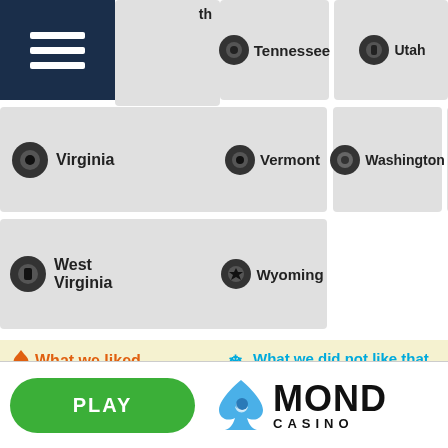[Figure (screenshot): State navigation grid tiles showing US states. Partial 'th' tile top-left, then Tennessee, Texas, Utah in row 1. Virginia, Vermont, Washington, Wisconsin in row 2. West Virginia, Wyoming in row 3.]
🔥 What we liked
❄ What we did not like that much
24/7 Live Chat Support
Live Casino Games
Many Game Providers
Restricted in some countries
[Figure (logo): PLAY button (green rounded) and Mond Casino logo with blue spade icon]